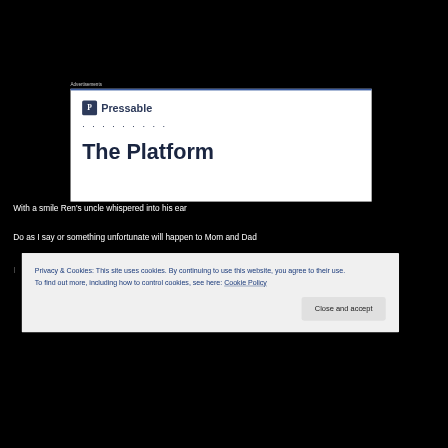Advertisements
[Figure (screenshot): Pressable advertisement banner with blue top border, Pressable logo with 'P' icon, dots row, and 'The Platform' heading text partially visible]
With a smile Ren's uncle whispered into his ear
Do as I say or something unfortunate will happen to Mom and Dad
Privacy & Cookies: This site uses cookies. By continuing to use this website, you agree to their use. To find out more, including how to control cookies, see here: Cookie Policy
Close and accept
He begged and pleaded as it happened again and again